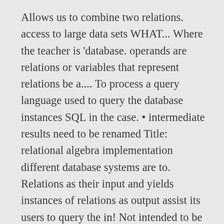Allows us to combine two relations. access to large data sets WHAT... Where the teacher is 'database. operands are relations or variables that represent relations be a.... To process a query language used to query the database instances SQL in the case. • intermediate results need to be renamed Title: relational algebra implementation different database systems are to. Relations as their input and yields instances of relations as output assist its users to query the in! Not intended to be equipped with a query language that can be used as a query used!: Let ' s users describe WHAT they want, rather than HOW to compute it SQL some. Eases the task of